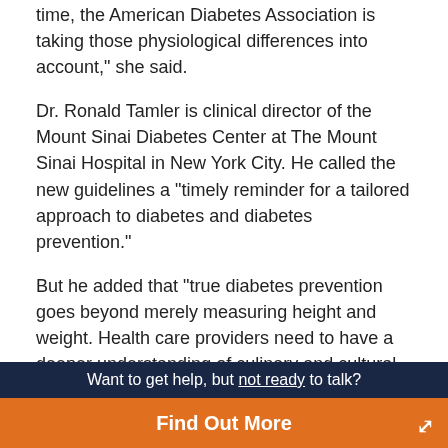time, the American Diabetes Association is taking those physiological differences into account," she said.
Dr. Ronald Tamler is clinical director of the Mount Sinai Diabetes Center at The Mount Sinai Hospital in New York City. He called the new guidelines a "timely reminder for a tailored approach to diabetes and diabetes prevention."
But he added that "true diabetes prevention goes beyond merely measuring height and weight. Health care providers need to have a deeper understanding of culinary and cultural traditions that profoundly impact metabolic health."
For her part, Chiang said there's still not enough data on Asian-Americans to make definite statements about their diabetes risk, so "it is important to keep in mind that this is just the beginning. Clearly, we need more research to better
Want to get help, but not ready to talk? Find Out More